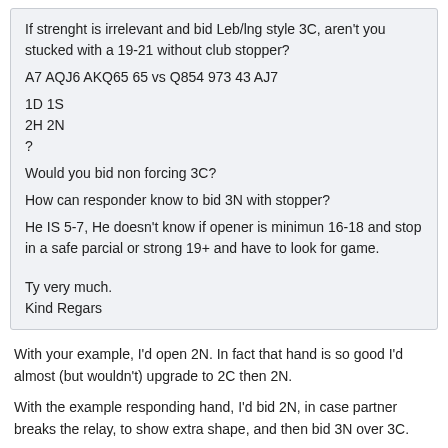If strenght is irrelevant and bid Leb/lng style 3C, aren't you stucked with a 19-21 without club stopper?
A7 AQJ6 AKQ65 65 vs Q854 973 43 AJ7
1D 1S
2H 2N
?
Would you bid non forcing 3C?
How can responder know to bid 3N with stopper?
He IS 5-7, He doesn't know if opener is minimun 16-18 and stop in a safe parcial or strong 19+ and have to look for game.
Ty very much.
Kind Regars
With your example, I'd open 2N. In fact that hand is so good I'd almost (but wouldn't) upgrade to 2C then 2N.
With the example responding hand, I'd bid 2N, in case partner breaks the relay, to show extra shape, and then bid 3N over 3C.